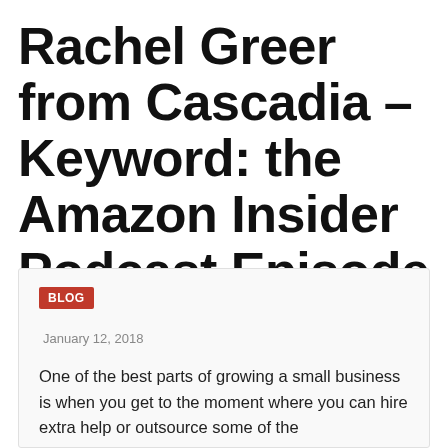Rachel Greer from Cascadia – Keyword: the Amazon Insider Podcast Episode 054
BLOG
January 12, 2018
One of the best parts of growing a small business is when you get to the moment where you can hire extra help or outsource some of the